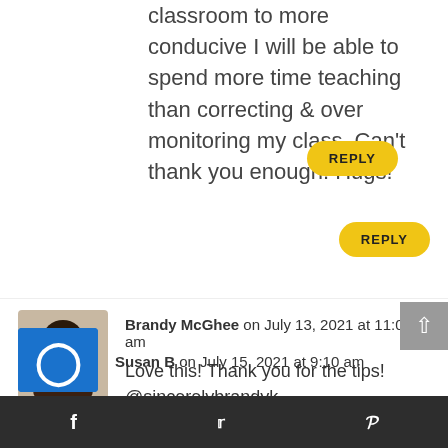classroom to more conducive I will be able to spend more time teaching than correcting & over monitoring my class. Can't thank you enough. Hugs!
REPLY
Brandy McGhee on July 13, 2021 at 11:03 am
Love this! Thank you for the tips! @sincerelybrandyk
REPLY
Susan B on July 15, 2021 at 9:10 am
[Figure (other): Profile avatar photo of Brandy McGhee]
[Figure (other): Susan B default user avatar with letter D on blue background]
f  twitter  p  social share bar